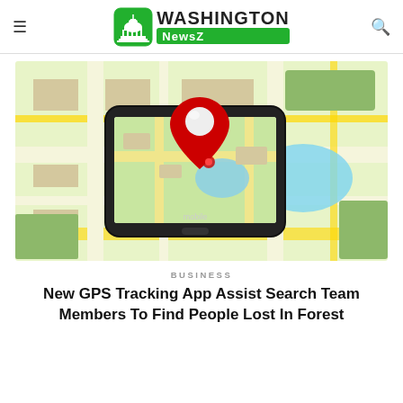Washington NewsZ
[Figure (photo): A smartphone displaying a GPS map with a red location pin marker, placed on top of a printed city map with roads and landmarks visible]
BUSINESS
New GPS Tracking App Assist Search Team Members To Find People Lost In Forest